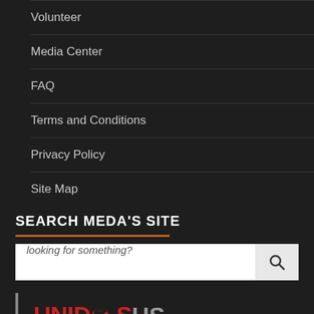Volunteer
Media Center
FAQ
Terms and Conditions
Privacy Policy
Site Map
SEARCH MEDA'S SITE
looking for something?
[Figure (logo): UnidosUS Affiliate logo — UNIDOS in red bold, US in gray, AFFILIATE in gray below, with bracket on left side]